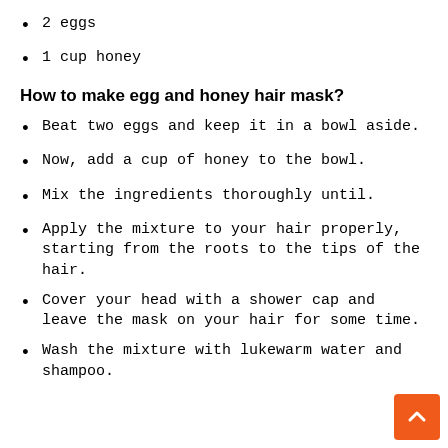2 eggs
1 cup honey
How to make egg and honey hair mask?
Beat two eggs and keep it in a bowl aside.
Now, add a cup of honey to the bowl.
Mix the ingredients thoroughly until.
Apply the mixture to your hair properly, starting from the roots to the tips of the hair.
Cover your head with a shower cap and leave the mask on your hair for some time.
Wash the mixture with lukewarm water and shampoo.